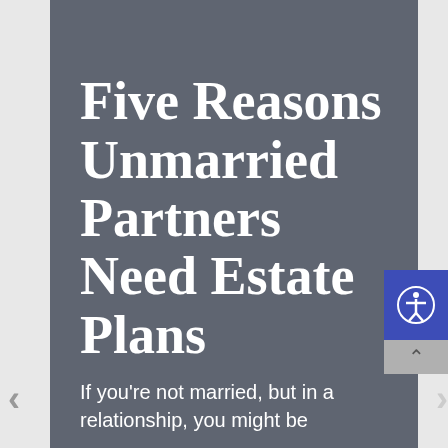Five Reasons Unmarried Partners Need Estate Plans
If you're not married, but in a relationship, you might be